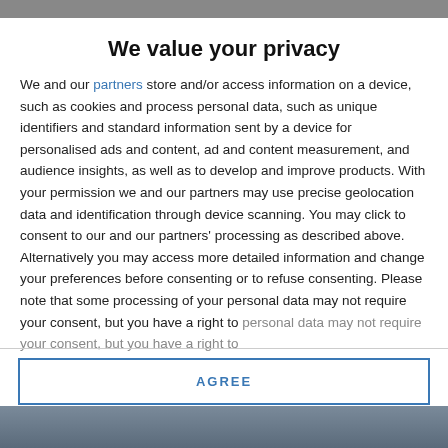We value your privacy
We and our partners store and/or access information on a device, such as cookies and process personal data, such as unique identifiers and standard information sent by a device for personalised ads and content, ad and content measurement, and audience insights, as well as to develop and improve products. With your permission we and our partners may use precise geolocation data and identification through device scanning. You may click to consent to our and our partners' processing as described above. Alternatively you may access more detailed information and change your preferences before consenting or to refuse consenting. Please note that some processing of your personal data may not require your consent, but you have a right to
AGREE
MORE OPTIONS
[Figure (photo): Bottom portion of a webpage with a photo partially visible at the bottom edge]